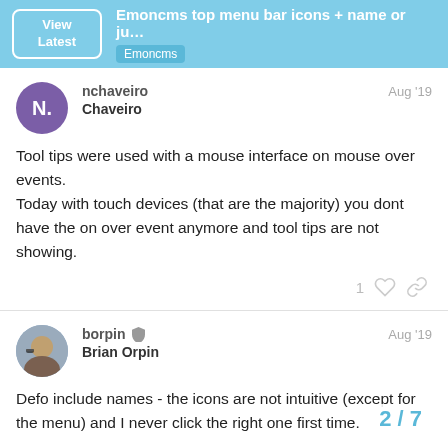Emoncms top menu bar icons + name or ju... | Emoncms
nchaveiro
Chaveiro
Aug '19

Tool tips were used with a mouse interface on mouse over events.
Today with touch devices (that are the majority) you dont have the on over event anymore and tool tips are not showing.
borpin
Brian Orpin
Aug '19

Defo include names - the icons are not intuitive (except for the menu) and I never click the right one first time.

'Setup' isn't right though. I'd suggest 'Mana
2 / 7